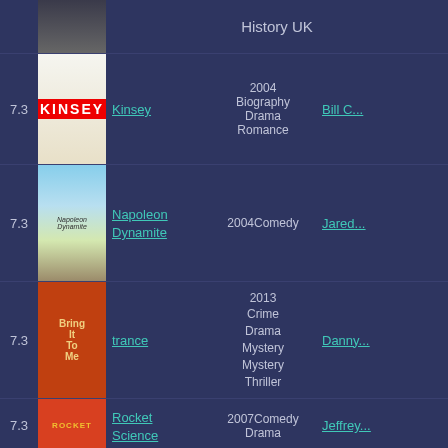History UK
7.3 Kinsey 2004 Biography Drama Romance Bill C...
7.3 Napoleon Dynamite 2004 Comedy Jared...
7.3 trance 2013 Crime Drama Mystery Mystery Thriller Danny...
7.3 Rocket Science 2007 Comedy Drama Jeffrey...